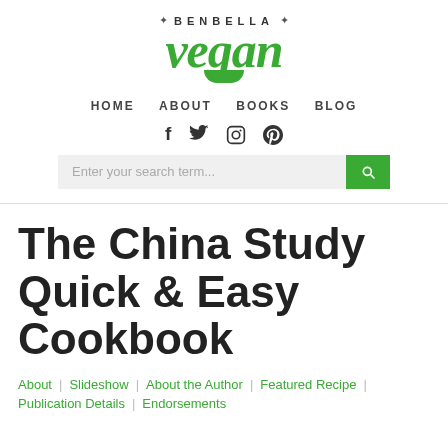BENBELLA vegan
HOME   ABOUT   BOOKS   BLOG
f  Twitter  Instagram  Pinterest (social icons)
Enter your search term...
The China Study Quick & Easy Cookbook
About | Slideshow | About the Author | Featured Recipe |
Publication Details | Endorsements